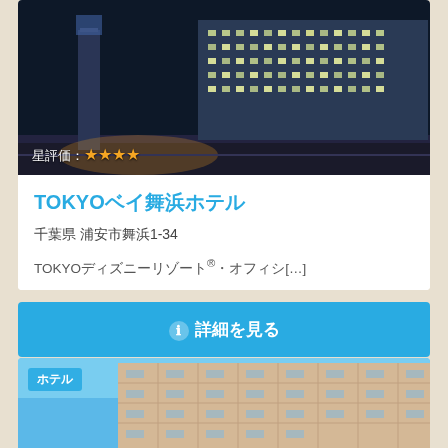[Figure (photo): Night exterior photo of TOKYO Bay Maihama Hotel, showing illuminated modern hotel building facade with blue ambient lighting]
星評価：★★★★
TOKYOベイ舞浜ホテル
千葉県 浦安市舞浜1-34
TOKYOディズニーリゾート®・オフィシ[…]
ℹ 詳細を見る
[Figure (photo): Daytime exterior photo of a hotel building (tall beige/cream colored high-rise hotel building under blue sky) with a 'ホテル' tag label]